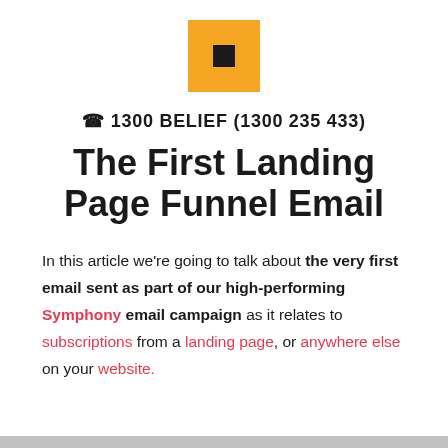[Figure (logo): Orange square logo with a small dark square inside, centered at top of page]
☎ 1300 BELIEF (1300 235 433)
The First Landing Page Funnel Email
In this article we're going to talk about the very first email sent as part of our high-performing Symphony email campaign as it relates to subscriptions from a landing page, or anywhere else on your website.